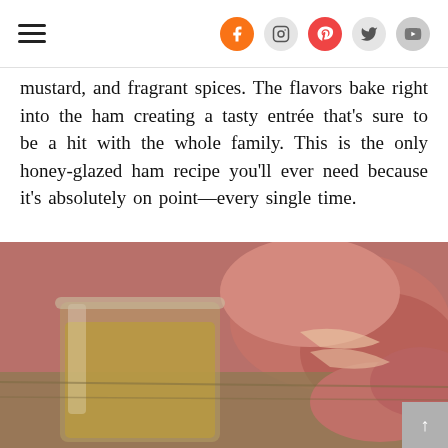Navigation menu and social media icons (Facebook, Instagram, Pinterest, Twitter, YouTube)
mustard, and fragrant spices. The flavors bake right into the ham creating a tasty entrée that's sure to be a hit with the whole family. This is the only honey-glazed ham recipe you'll ever need because it's absolutely on point—every single time.
[Figure (photo): Close-up photo of a glass cup containing amber-colored glaze/liquid, with sliced ham visible in the background on a wooden surface.]